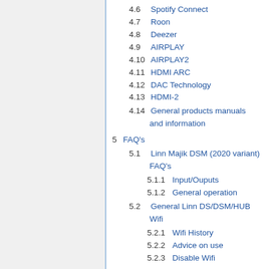4.6  Spotify Connect
4.7  Roon
4.8  Deezer
4.9  AIRPLAY
4.10  AIRPLAY2
4.11  HDMI ARC
4.12  DAC Technology
4.13  HDMI-2
4.14  General products manuals and information
5  FAQ's
5.1  Linn Majik DSM (2020 variant) FAQ's
5.1.1  Input/Ouputs
5.1.2  General operation
5.2  General Linn DS/DSM/HUB Wifi
5.2.1  Wifi History
5.2.2  Advice on use
5.2.3  Disable Wifi